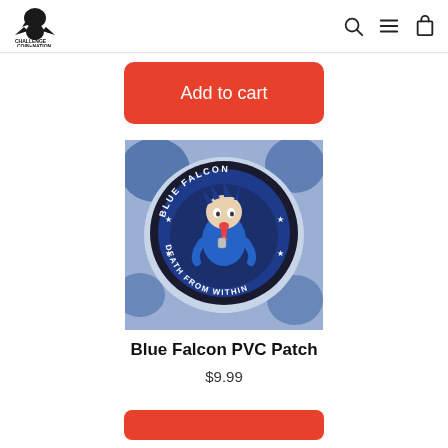Challenge Coin Nation
Add to cart
[Figure (photo): Blue Falcon PVC Patch product photo showing a circular PVC patch with a cartoon falcon character, text reading BLUE FALCON at top and DEATH FROM WITHIN at bottom, on blue background with stars]
Blue Falcon PVC Patch
$9.99